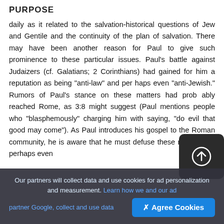PURPOSE
daily as it related to the salvation-historical questions of Jew and Gentile and the continuity of the plan of salvation. There may have been another reason for Paul to give such prominence to these particular issues. Paul's battle against Judaizers (cf. Galatians; 2 Corinthians) had gained for him a reputation as being "anti-law" and per haps even "anti-Jewish." Rumors of Paul's stance on these matters had prob ably reached Rome, as 3:8 might suggest (Paul mentions people who "blasphemously" charging him with saying, "do evil that good may come"). As Paul introduces his gospel to the Roman community, he is aware that he must defuse these rumors and perhaps even
Our partners will collect data and use cookies for ad personalization and measurement. Learn how we and our ad partner Google, collect and use data